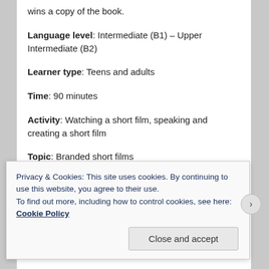wins a copy of the book.
Language level: Intermediate (B1) – Upper Intermediate (B2)
Learner type: Teens and adults
Time: 90 minutes
Activity: Watching a short film, speaking and creating a short film
Topic: Branded short films
(partially visible, cut off at bottom)
Privacy & Cookies: This site uses cookies. By continuing to use this website, you agree to their use. To find out more, including how to control cookies, see here: Cookie Policy
Close and accept